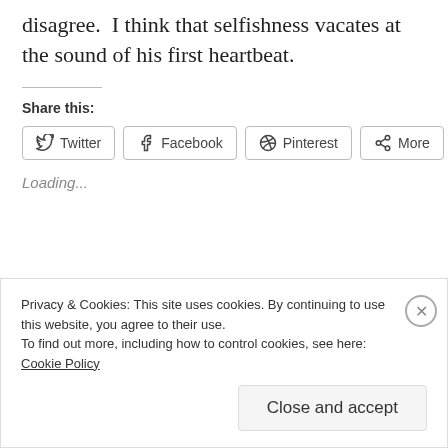disagree. I think that selfishness vacates at the sound of his first heartbeat.
Share this:
Twitter Facebook Pinterest More
Loading...
Privacy & Cookies: This site uses cookies. By continuing to use this website, you agree to their use.
To find out more, including how to control cookies, see here: Cookie Policy
Close and accept